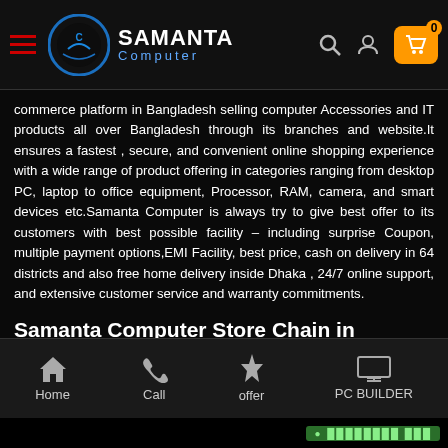Samanta Computer — navigation header with logo, search, user, and cart icons
commerce platform in Bangladesh selling computer Accessories and IT products all over Bangladesh through its branches and website.It ensures a fastest , secure, and convenient online shopping experience with a wide range of product offering in categories ranging from desktop PC, laptop to office equipment, Processor, RAM, camera, and smart devices etc.Samanta Computer is always try to give best offer to its customers with best possible facility – including surprise Coupon, multiple payment options,EMI Facility, best price, cash on delivery in 64 districts and also free home delivery inside Dhaka , 24/7 online support, and extensive customer service and warranty commitments.
Samanta Computer Store Chain in Bangladesh
Besides online facility, Samanta computer offers the largest chain of stores in Bangladesh with its branches available in BCS Computer City, IBD Bhaban(1st Floor), Shop No: SR 123/1, Dhaka-Bangladesh. We have
Home | Call | offer | PC BUILDER